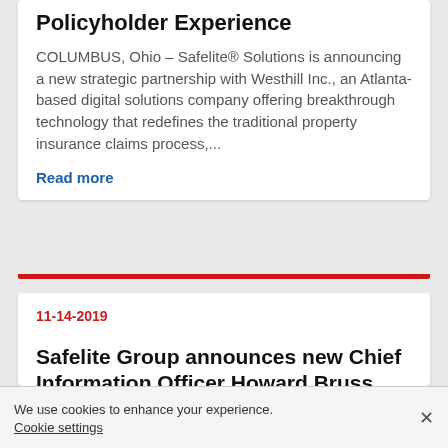Policyholder Experience
COLUMBUS, Ohio – Safelite® Solutions is announcing a new strategic partnership with Westhill Inc., an Atlanta-based digital solutions company offering breakthrough technology that redefines the traditional property insurance claims process,...
Read more
11-14-2019
Safelite Group announces new Chief Information Officer Howard Bruss joins the
We use cookies to enhance your experience.
Cookie settings